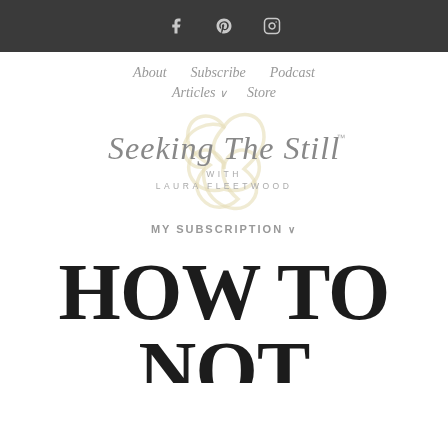f  p  [instagram icon]
About   Subscribe   Podcast   Articles ∨   Store
[Figure (logo): Seeking The Still with Laura Fleetwood logo — script text with a Celtic triquetra knot watermark in gold/cream]
MY SUBSCRIPTION ∨
HOW TO NOT DO IT ALL